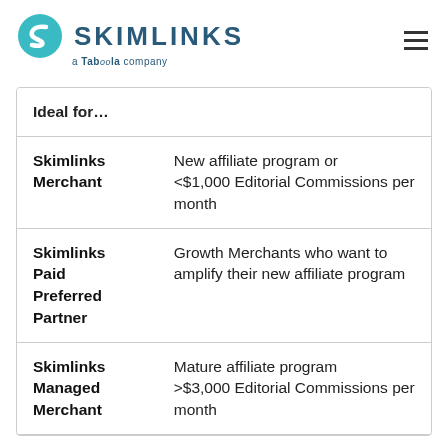Skimlinks — a Taboola company
| Ideal for... |
| --- |
| Skimlinks Merchant | New affiliate program or <$1,000 Editorial Commissions per month |
| Skimlinks Paid Preferred Partner | Growth Merchants who want to amplify their new affiliate program |
| Skimlinks Managed Merchant | Mature affiliate program >$3,000 Editorial Commissions per month |